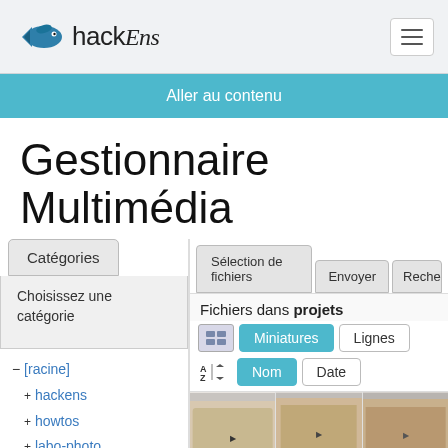hackEns logo and navigation
Aller au contenu
Gestionnaire Multimédia
Catégories
Choisissez une catégorie
– [racine]
+ hackens
+ howtos
+ labo-photo
– projets
+ acheves
+ wiki
Sélection de fichiers	Envoyer	Reche...
Fichiers dans projets
Miniatures	Lignes
Nom	Date
[Figure (photo): Three thumbnail images of a small wooden/cardboard box with text markings, shown in a grid view]